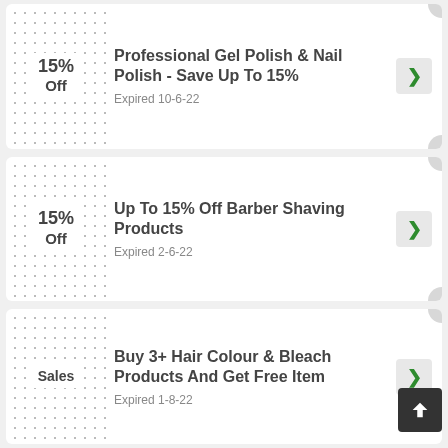15% Off
Professional Gel Polish & Nail Polish - Save Up To 15%
Expired 10-6-22
15% Off
Up To 15% Off Barber Shaving Products
Expired 2-6-22
Sales
Buy 3+ Hair Colour & Bleach Products And Get Free Item
Expired 1-8-22